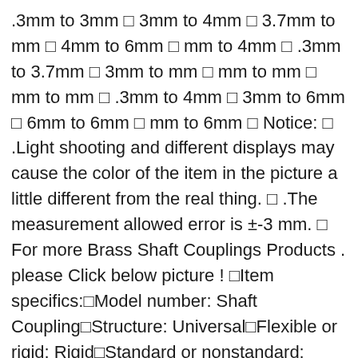.3mm to 3mm □ 3mm to 4mm □ 3.7mm to mm □ 4mm to 6mm □ mm to 4mm □ .3mm to 3.7mm □ 3mm to mm □ mm to mm □ mm to mm □ .3mm to 4mm □ 3mm to 6mm □ 6mm to 6mm □ mm to 6mm □ Notice: □ .Light shooting and different displays may cause the color of the item in the picture a little different from the real thing. □ .The measurement allowed error is ±-3 mm. □ For more Brass Shaft Couplings Products . please Click below picture ! □Item specifics:□Model number: Shaft Coupling□Structure: Universal□Flexible or rigid: Rigid□Standard or nonstandard: Standard□Material: Brass□Product name: Brass Shaft Motor Rigid Coupling□ Colour: Gold□Inner bore : /.3/3/3.7/4//6mm□Material: Brass□Length: 0mm□Function : for connect motor□ Function : for ship Model accessories□Package: pc x Shaft Coupling 4pcs x M3 Screws □ □ □